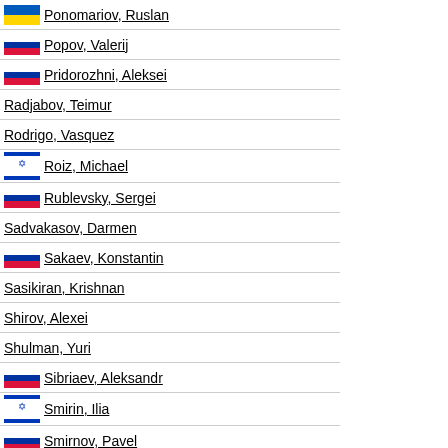Ponomariov, Ruslan
Popov, Valerij
Pridorozhni, Aleksei
Radjabov, Teimur
Rodrigo, Vasquez
Roiz, Michael
Rublevsky, Sergei
Sadvakasov, Darmen
Sakaev, Konstantin
Sasikiran, Krishnan
Shirov, Alexei
Shulman, Yuri
Sibriaev, Aleksandr
Smirin, Ilia
Smirnov, Pavel
Sokolov, Ivan
Stefanova, Antoaneta
Stripunsky, Alexander
Sutovsky, Emil
Timofeev, Artyom
Tiviakov, Sergei
Vaganian, Rafael A
Vallejo Pons, Francisco
Van Wely, Loek
Vescovi, Giovanni